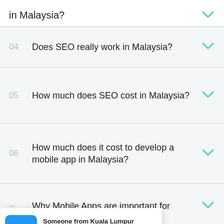in Malaysia?
04  Does SEO really work in Malaysia?
05  How much does SEO cost in Malaysia?
06  How much does it cost to develop a mobile app in Malaysia?
07  Why Mobile Apps are important for
[Figure (screenshot): Notification popup: Someone from Kuala Lumpur recently purchased Domain Name, 14 hours ago]
How to choose the right software